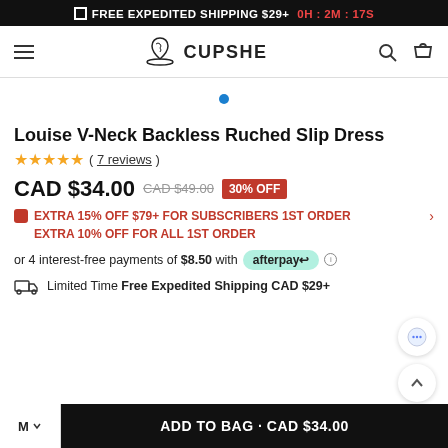FREE EXPEDITED SHIPPING $29+ 0H : 2M : 17S
[Figure (logo): Cupshe logo with palm tree icon and brand name]
Louise V-Neck Backless Ruched Slip Dress
★★★★★ ( 7 reviews )
CAD $34.00  CAD $49.00  30% OFF
EXTRA 15% OFF $79+ FOR SUBSCRIBERS 1ST ORDER
EXTRA 10% OFF FOR ALL 1ST ORDER
or 4 interest-free payments of $8.50 with afterpay
Limited Time Free Expedited Shipping CAD $29+
M  ADD TO BAG · CAD $34.00